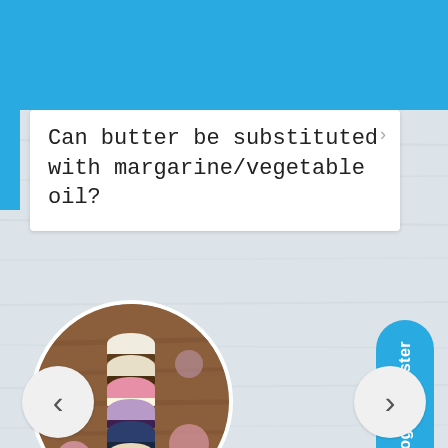[Figure (logo): Nestle Milkmaid logo with woman in traditional dress on blue header background]
Can butter be substituted with margarine/vegetable oil?
[Figure (photo): Stack of colorful macarons (white, pink, purple, navy) with flowers on wooden background, shown in circular crop]
Login/Register